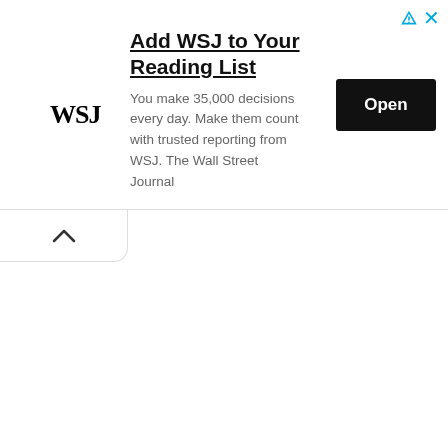[Figure (logo): WSJ (Wall Street Journal) advertisement banner with logo, title, body text, and Open button]
Add WSJ to Your Reading List
You make 35,000 decisions every day. Make them count with trusted reporting from WSJ. The Wall Street Journal